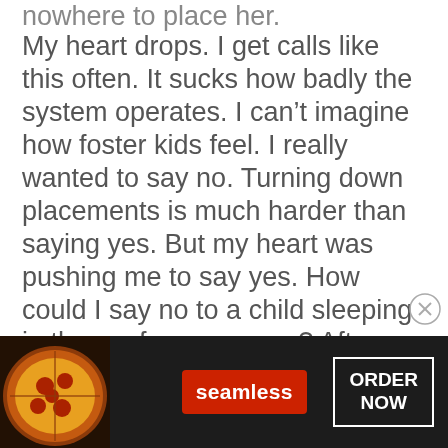nowhere to place her.
My heart drops. I get calls like this often. It sucks how badly the system operates. I can't imagine how foster kids feel. I really wanted to say no. Turning down placements is much harder than saying yes. But my heart was pushing me to say yes. How could I say no to a child sleeping in the conference room? After asking for more information I said yes. Was I crazy? I guess so. I was expecting to have a few days to prepare but the worker on the phone told me she'll be here in a few hours. A few
[Figure (other): Advertisement banner for Seamless food delivery. Shows pizza image on left, red Seamless badge in center, and white-bordered ORDER NOW button on right, all on dark background.]